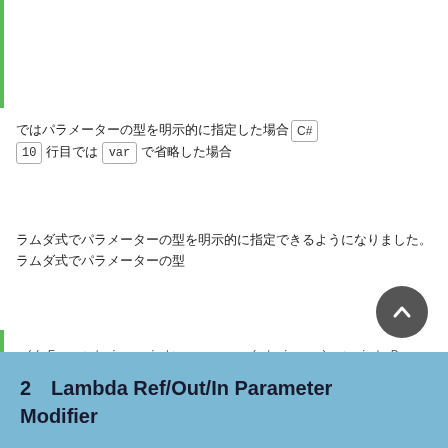ではパラメーターの型を明示的に指定した場合（C#）、10 行目では var で省略した場合
ラムダ式でパラメーターの型を明示的に指定できるようになりました。
// Func<string, int> parse = (string s) => int.Parse(s);
var parse = (string s) => int.Parse(s);
2　Lambda Ref/Out/In Parameter Modifier